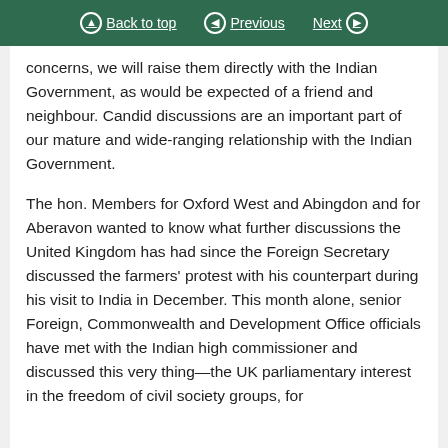Back to top | Previous | Next
concerns, we will raise them directly with the Indian Government, as would be expected of a friend and neighbour. Candid discussions are an important part of our mature and wide-ranging relationship with the Indian Government.
The hon. Members for Oxford West and Abingdon and for Aberavon wanted to know what further discussions the United Kingdom has had since the Foreign Secretary discussed the farmers' protest with his counterpart during his visit to India in December. This month alone, senior Foreign, Commonwealth and Development Office officials have met with the Indian high commissioner and discussed this very thing—the UK parliamentary interest in the freedom of civil society groups, for